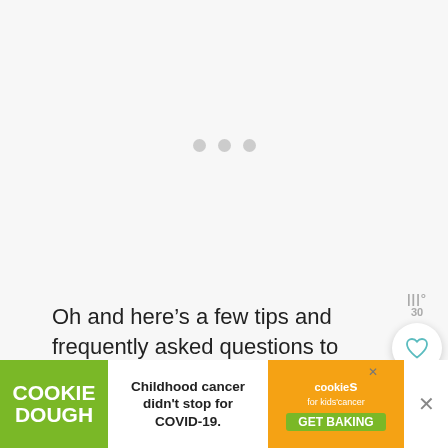[Figure (other): Loading placeholder area with three grey dots indicating content loading]
[Figure (other): UI widgets: view counter showing 30, heart/save button (white circle), and search button (teal circle)]
Oh and here’s a few tips and frequently asked questions to make sure you make the perfect gluten free Easter chocolate orange brownies every time:
[Figure (other): Advertisement banner: Cookie Dough (green background) | Childhood cancer didn't stop for COVID-19. | cookies for kids cancer GET BAKING (orange background) with close X button]